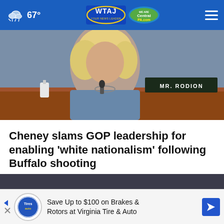67° WTAJ CentralPA.com
[Figure (photo): Woman with blonde hair at a congressional hearing desk, nameplate reading MR. RODION visible in background]
Cheney slams GOP leadership for enabling 'white nationalism' following Buffalo shooting
[Figure (photo): Person holding Arm & Hammer baking soda box and mixing with a spoon in a bowl, close-up shot]
Save Up to $100 on Brakes & Rotors at Virginia Tire & Auto